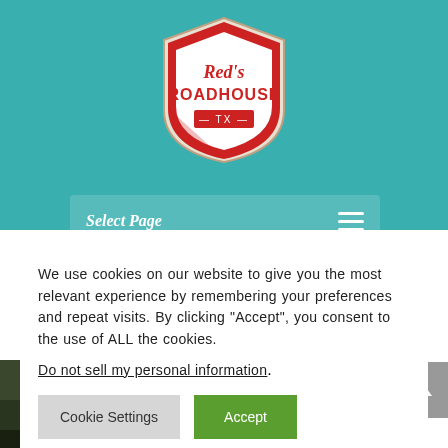[Figure (logo): Red's Roadhouse TX logo — shield shape with red background, white text reading 'Red's ROADHOUSE' and '—TX—' below]
Select Page
We use cookies on our website to give you the most relevant experience by remembering your preferences and repeat visits. By clicking "Accept", you consent to the use of ALL the cookies.
Do not sell my personal information.
Cookie Settings
Accept
[Figure (photo): Outdoor photo of trees and wooden gate structure, dark and moody lighting]